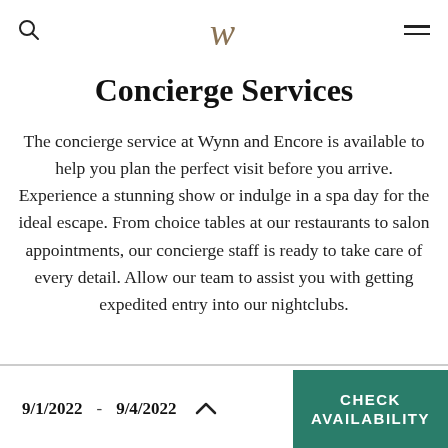W [logo] | Search | Menu
Concierge Services
The concierge service at Wynn and Encore is available to help you plan the perfect visit before you arrive. Experience a stunning show or indulge in a spa day for the ideal escape. From choice tables at our restaurants to salon appointments, our concierge staff is ready to take care of every detail. Allow our team to assist you with getting expedited entry into our nightclubs.
9/1/2022 - 9/4/2022 ∧ CHECK AVAILABILITY